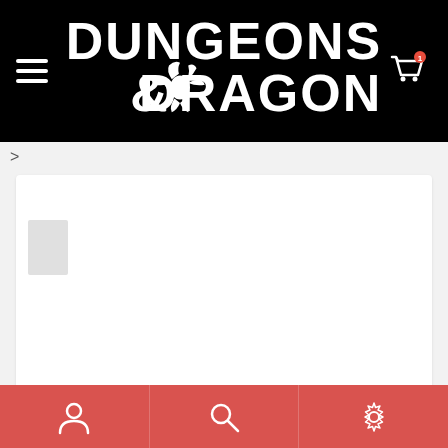[Figure (logo): Dungeons & Dragons logo in white on black background with dragon emblem]
>
[Figure (screenshot): White product card area with small gray image placeholder]
[Figure (infographic): Red bottom navigation bar with user profile icon, search icon, and settings/gear icon]